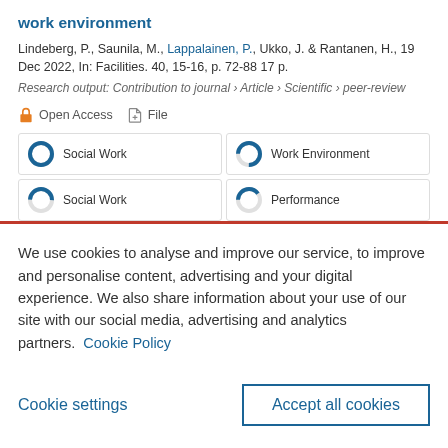work environment
Lindeberg, P., Saunila, M., Lappalainen, P., Ukko, J. & Rantanen, H., 19 Dec 2022, In: Facilities. 40, 15-16, p. 72-88 17 p.
Research output: Contribution to journal › Article › Scientific › peer-review
🔓 Open Access  📎 File
Social Work | Work Environment | Social Work | Performance
We use cookies to analyse and improve our service, to improve and personalise content, advertising and your digital experience. We also share information about your use of our site with our social media, advertising and analytics partners.  Cookie Policy
Cookie settings
Accept all cookies